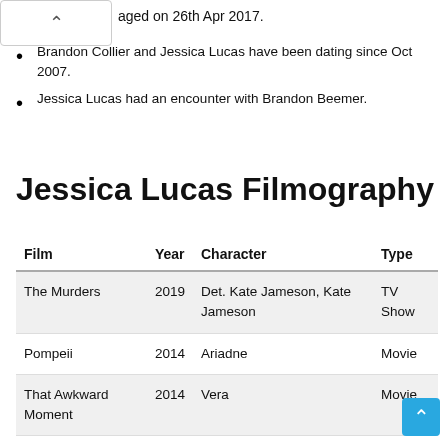aged on 26th Apr 2017.
Brandon Collier and Jessica Lucas have been dating since Oct 2007.
Jessica Lucas had an encounter with Brandon Beemer.
Jessica Lucas Filmography
| Film | Year | Character | Type |
| --- | --- | --- | --- |
| The Murders | 2019 | Det. Kate Jameson, Kate Jameson | TV Show |
| Pompeii | 2014 | Ariadne | Movie |
| That Awkward Moment | 2014 | Vera | Movie |
| Gracepoint | 2014 | Renee Clemons | TV Show |